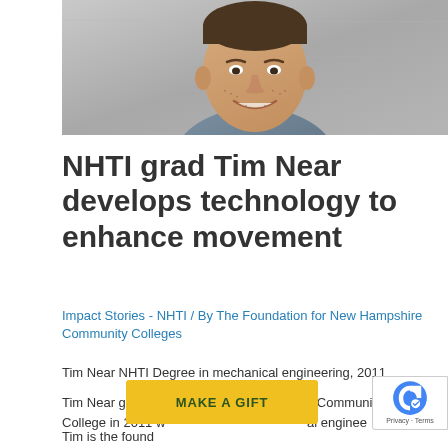[Figure (photo): Headshot of Tim Near, a young man with short dark hair and stubble, smiling, wearing a blue-grey shirt, photographed against a grey concrete background.]
NHTI grad Tim Near develops technology to enhance movement
Impact Stories - NHTI / By The Foundation for New Hampshire Community Colleges
Tim Near NHTI Degree in mechanical engineering, 2011
Tim Near graduated from NHTI – Concord's Community College in 2011 with a degree in mechanical engineering. Tim is the founder...